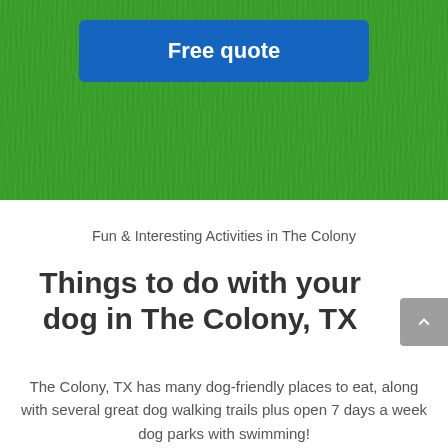[Figure (illustration): Green grass textured background section at the top of the page with a blue 'Free quote' button centered within it]
Fun & Interesting Activities in The Colony
Things to do with your dog in The Colony, TX
The Colony, TX has many dog-friendly places to eat, along with several great dog walking trails plus open 7 days a week dog parks with swimming!